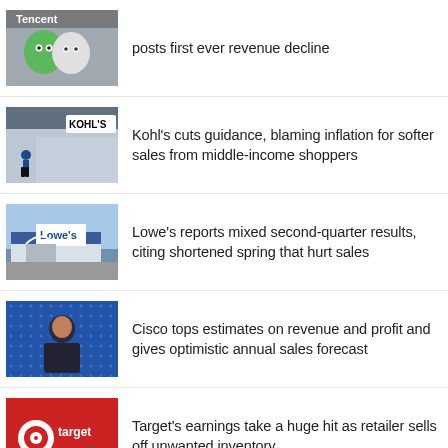[Figure (photo): Tencent logo/mascot emoji-like characters (green and white)]
posts first ever revenue decline
[Figure (photo): Kohl's store front with signage and a person walking by]
Kohl's cuts guidance, blaming inflation for softer sales from middle-income shoppers
[Figure (photo): Lowe's store exterior with parking lot]
Lowe's reports mixed second-quarter results, citing shortened spring that hurt sales
[Figure (photo): Cisco executive speaking at event with blue dotted backdrop]
Cisco tops estimates on revenue and profit and gives optimistic annual sales forecast
[Figure (photo): Target store front with red Target logo and person with cart]
Target's earnings take a huge hit as retailer sells off unwanted inventory